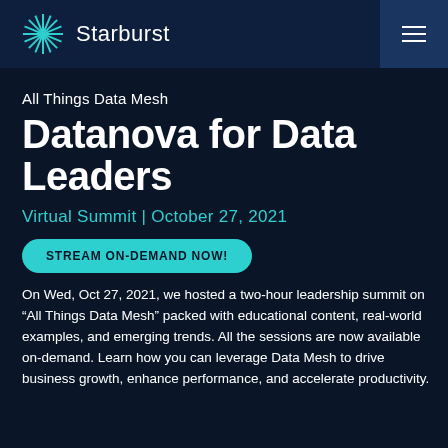Starburst
All Things Data Mesh
Datanova for Data Leaders
Virtual Summit | October 27, 2021
STREAM ON-DEMAND NOW!
On Wed, Oct 27, 2021, we hosted a two-hour leadership summit on “All Things Data Mesh” packed with educational content, real-world examples, and emerging trends. All the sessions are now available on-demand. Learn how you can leverage Data Mesh to drive business growth, enhance performance, and accelerate productivity.